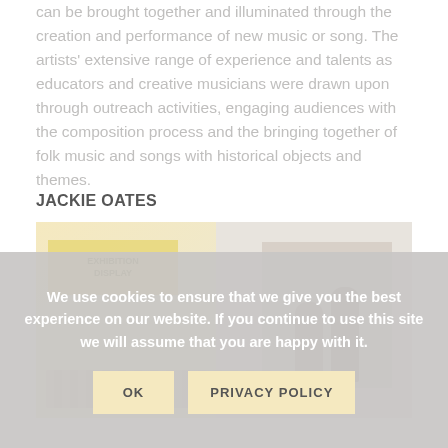can be brought together and illuminated through the creation and performance of new music or song. The artists' extensive range of experience and talents as educators and creative musicians were drawn upon through outreach activities, engaging audiences with the composition process and the bringing together of folk music and songs with historical objects and themes.
JACKIE OATES
[Figure (photo): A washed-out photo showing a gallery or exhibition space with a yellow sign/poster on the left side and two figures/people visible on the right side, with floral or leafy elements in the foreground.]
We use cookies to ensure that we give you the best experience on our website. If you continue to use this site we will assume that you are happy with it.